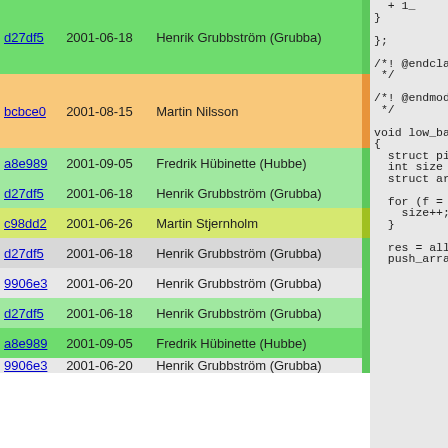| hash | date | author | bar | code |
| --- | --- | --- | --- | --- |
| d27df5 | 2001-06-18 | Henrik Grubbström (Grubba) |  | };  /*! @endclas */ |
| bcbce0 | 2001-08-15 | Martin Nilsson |  | /*! @endmodu */ |
| a8e989 | 2001-09-05 | Fredrik Hübinette (Hubbe) |  | void low_ba( |
| d27df5 | 2001-06-18 | Henrik Grubbström (Grubba) |  | { |
| c98dd2 | 2001-06-26 | Martin Stjernholm |  | struct pi |
| d27df5 | 2001-06-18 | Henrik Grubbström (Grubba) |  | int size = |
| 9906e3 | 2001-06-20 | Henrik Grubbström (Grubba) |  | struct ar |
| d27df5 | 2001-06-18 | Henrik Grubbström (Grubba) |  |  |
| a8e989 | 2001-09-05 | Fredrik Hübinette (Hubbe) |  | for (f = |
| 9906e3 | 2001-06-20 | Henrik Grubbström (Grubba) |  | size++;  }  res = all push_array |